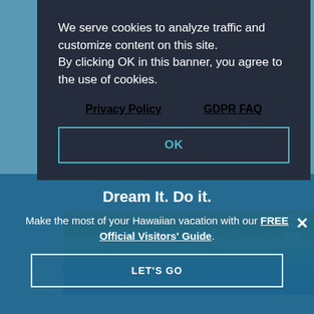[Figure (screenshot): Cookie consent banner overlay on a Hawaiian travel website. Dark navy banner with cookie policy text, Privacy Policy and GDPR FAQ links, and an OK button with teal border. Below is a Hawaiian aerial coastal photo. A teal promotional banner at bottom reads 'Dream It. Do it.' with text about a free Official Visitors' Guide and a LET'S GO button.]
We serve cookies to analyze traffic and customize content on this site. By clicking OK in this banner, you agree to the use of cookies.
Privacy Policy    GDPR FAQ
OK
BACK TO TOP
Dream It. Do it.
Make the most of your Hawaiian vacation with our FREE Official Visitors' Guide.
LET'S GO